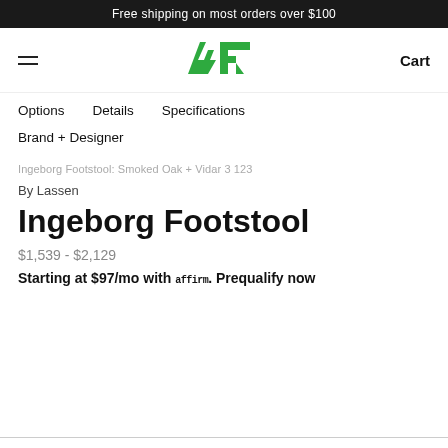Free shipping on most orders over $100
[Figure (logo): AER brand logo in green]
Options   Details   Specifications
Brand + Designer
Ingeborg Footstool: Smoked Oak + Vidar 3 123
By Lassen
Ingeborg Footstool
$1,539 - $2,129
Starting at $97/mo with affirm. Prequalify now